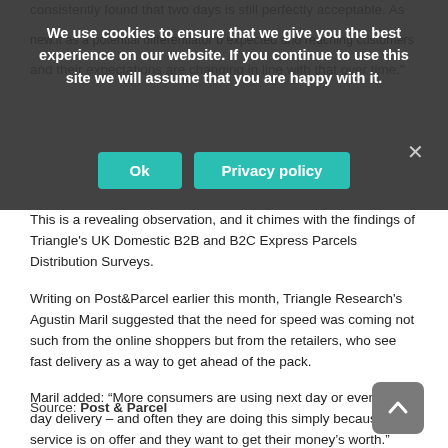consistently found that two days is still perfectly acceptable As ... new.it as a potential differentiator b expected and reaching customers and their expectations are changing in line with that over time.
We use cookies to ensure that we give you the best experience on our website. If you continue to use this site we will assume that you are happy with it.
Ok | Privacy policy
This is a revealing observation, and it chimes with the findings of Triangle's UK Domestic B2B and B2C Express Parcels Distribution Surveys.
Writing on Post&Parcel earlier this month, Triangle Research's Agustin Maril suggested that the need for speed was coming not such from the online shoppers but from the retailers, who see fast delivery as a way to get ahead of the pack.
Maril added: “More consumers are using next day or even same day delivery – and often they are doing this simply because the service is on offer and they want to get their money’s worth.”
Source: Post & Parcel